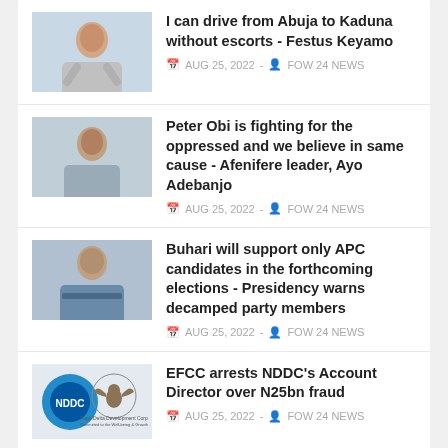I can drive from Abuja to Kaduna without escorts - Festus Keyamo | AUG 25, 2022 - FOW 24 NEWS
Peter Obi is fighting for the oppressed and we believe in same cause - Afenifere leader, Ayo Adebanjo | AUG 25, 2022 - FOW 24 NEWS
Buhari will support only APC candidates in the forthcoming elections - Presidency warns decamped party members | AUG 25, 2022 - FOW 24 NEWS
EFCC arrests NDDC's Account Director over N25bn fraud | AUG 25, 2022 - FOW 24 NEWS
[Figure (photo): Bottom section showing a waterfall and Nigerian coat of arms image strip]